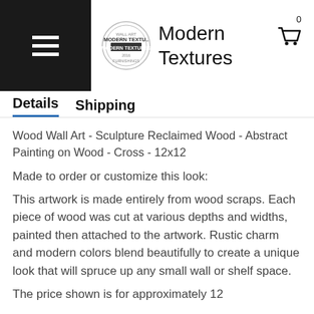Modern Textures
Details   Shipping
Wood Wall Art - Sculpture Reclaimed Wood - Abstract Painting on Wood - Cross - 12x12
Made to order or customize this look:
This artwork is made entirely from wood scraps. Each piece of wood was cut at various depths and widths, painted then attached to the artwork. Rustic charm and modern colors blend beautifully to create a unique look that will spruce up any small wall or shelf space.
The price shown is for approximately 12...